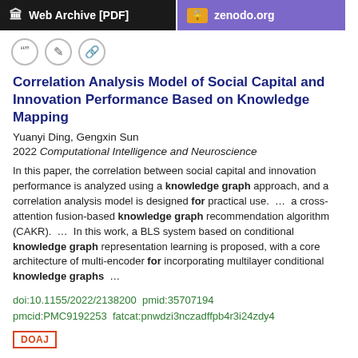Web Archive [PDF]   zenodo.org
Correlation Analysis Model of Social Capital and Innovation Performance Based on Knowledge Mapping
Yuanyi Ding, Gengxin Sun
2022 Computational Intelligence and Neuroscience
In this paper, the correlation between social capital and innovation performance is analyzed using a knowledge graph approach, and a correlation analysis model is designed for practical use.  ...  a cross-attention fusion-based knowledge graph recommendation algorithm (CAKR).  ...  In this work, a BLS system based on conditional knowledge graph representation learning is proposed, with a core architecture of multi-encoder for incorporating multilayer conditional knowledge graphs  ...
doi:10.1155/2022/2138200  pmid:35707194
pmcid:PMC9192253  fatcat:pnwdzi3nczadffpb4r3i24zdy4
DOAJ